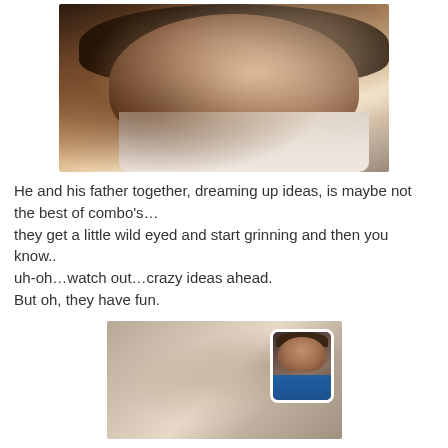[Figure (photo): Close-up selfie photo of a young man with dark curly hair and a slight smile, wearing a white shirt, taken at an angle]
He and his father together, dreaming up ideas, is maybe not the best of combo's…
they get a little wild eyed and start grinning and then you know..
uh-oh…watch out…crazy ideas ahead.
But oh, they have fun.
[Figure (photo): Video call screenshot showing a blurry close-up image with a smaller inset thumbnail of a middle-aged man with a beard wearing a teal/blue shirt]